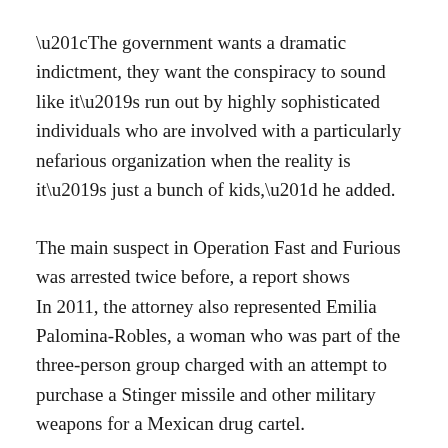“The government wants a dramatic indictment, they want the conspiracy to sound like it’s run out by highly sophisticated individuals who are involved with a particularly nefarious organization when the reality is it’s just a bunch of kids,” he added.
The main suspect in Operation Fast and Furious was arrested twice before, a report shows
In 2011, the attorney also represented Emilia Palomina-Robles, a woman who was part of the three-person group charged with an attempt to purchase a Stinger missile and other military weapons for a Mexican drug cartel.
Fontes accused the government at the time of “trying to